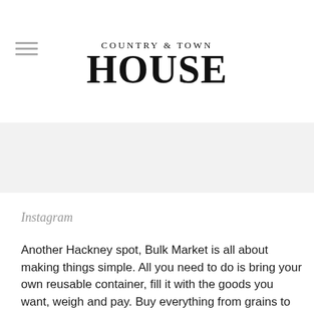COUNTRY & TOWN HOUSE
[Figure (illustration): Gray band placeholder/ad area below header]
Instagram
Another Hackney spot, Bulk Market is all about making things simple. All you need to do is bring your own reusable container, fill it with the goods you want, weigh and pay. Buy everything from grains to dog food to essential oils, alongside lots of organic fresh produce. bulkmarket.uk